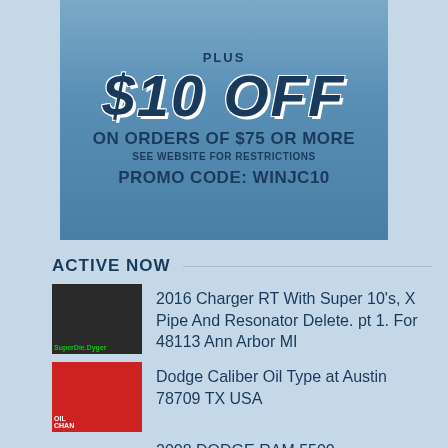[Figure (infographic): Promotional banner with icy styled '$10 OFF' text, 'ON ORDERS OF $75 OR MORE', 'SEE WEBSITE FOR RESTRICTIONS', and 'PROMO CODE: WINJC10' on a blue background]
ACTIVE NOW
2016 Charger RT With Super 10's, X Pipe And Resonator Delete. pt 1. For 48113 Ann Arbor MI
Dodge Caliber Oil Type at Austin 78709 TX USA
2008 DODGE RAM 5500 MECHANICS TRUCK UTILITY SERVICE TRUCK CRANE CUMMINS DIESEL in City 85365 Yuma AZ
Dodge Stratus Gas Tank in Saint David 4773 ME